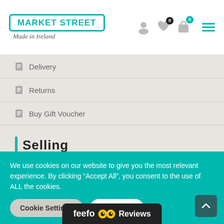[Figure (logo): Market Street - Made in Ireland logo in teal with decorative script subtitle]
Delivery
Returns
Buy Gift Voucher
Selling
Sell With Us
We use cookies on our website to give you the most relevant experience. By clicking “Accept All”, you consent to the use of ALL the cookies.
Cookie Settings
Accept All
[Figure (logo): Feefo Reviews badge in dark background with yellow eye icons]